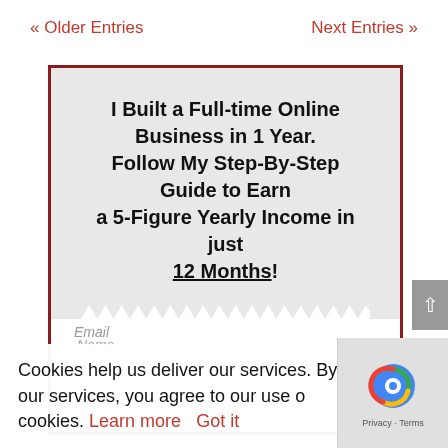« Older Entries    Next Entries »
I Built a Full-time Online Business in 1 Year. Follow My Step-By-Step Guide to Earn a 5-Figure Yearly Income in just 12 Months!
Name
Email
Cookies help us deliver our services. By using our services, you agree to our use of cookies. Learn more  Got it